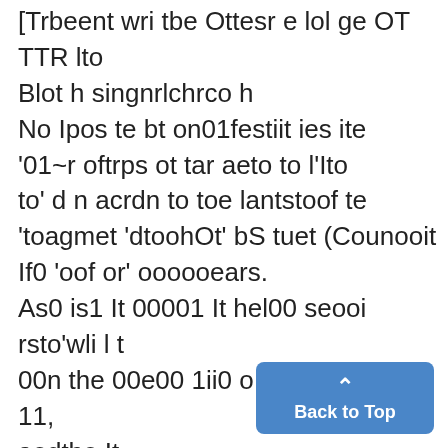[Trbeent wri tbe Ottesr e lol ge OT TTR lto Blot h singnrlchrco h No Ipos te bt on01festiit ies ite '01~r oftrps ot tar aeto to l'Ito to' d n acrdn to toe lantstoof te 'toagmet 'dtoohOt' bS tuet (Counooit If0 'oof or' oooooears. As0 is1 It 00001 It hel00 seooi rsto'wli l t 00n the 00e00 1ii0 o goandtoo wn 11, aodthe It ro o Sct lot towill Ito'liedo ih red fir. T is ea to'elbantd xwil 000d tiof o10 0csonotatoif w ill 111(0lt thoo f hlo ubrig' rgaTes